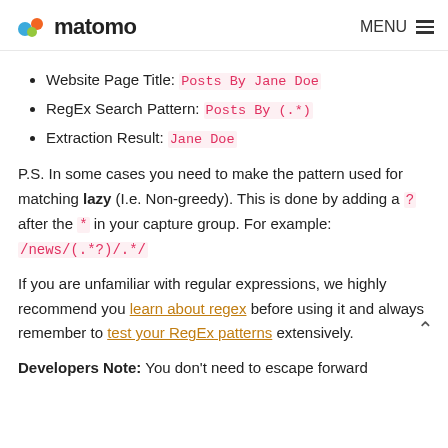matomo | MENU
Website Page Title: Posts By Jane Doe
RegEx Search Pattern: Posts By (.*)
Extraction Result: Jane Doe
P.S. In some cases you need to make the pattern used for matching lazy (I.e. Non-greedy). This is done by adding a ? after the * in your capture group. For example: /news/(.*?)/.*/
If you are unfamiliar with regular expressions, we highly recommend you learn about regex before using it and always remember to test your RegEx patterns extensively.
Developers Note: You don't need to escape forward